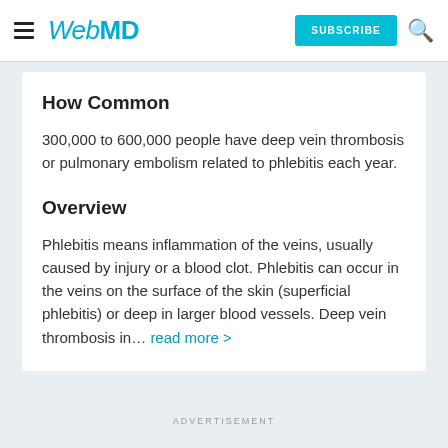WebMD — SUBSCRIBE
How Common
300,000 to 600,000 people have deep vein thrombosis or pulmonary embolism related to phlebitis each year.
Overview
Phlebitis means inflammation of the veins, usually caused by injury or a blood clot. Phlebitis can occur in the veins on the surface of the skin (superficial phlebitis) or deep in larger blood vessels. Deep vein thrombosis in... read more >
ADVERTISEMENT